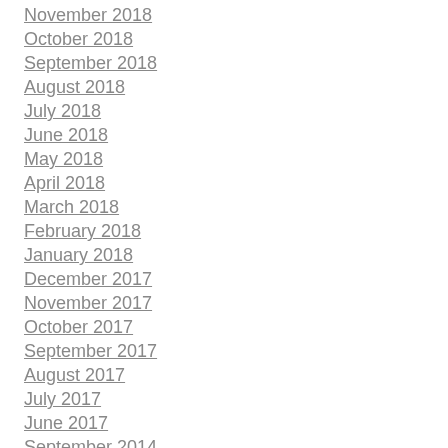November 2018
October 2018
September 2018
August 2018
July 2018
June 2018
May 2018
April 2018
March 2018
February 2018
January 2018
December 2017
November 2017
October 2017
September 2017
August 2017
July 2017
June 2017
September 2014